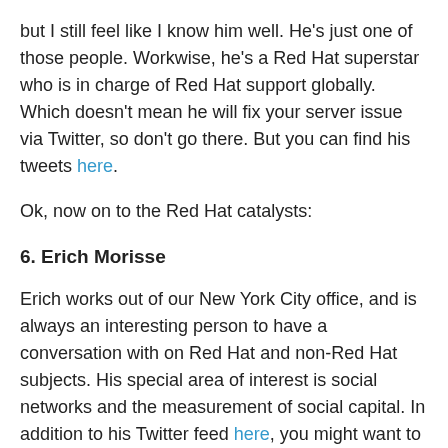but I still feel like I know him well. He's just one of those people. Workwise, he's a Red Hat superstar who is in charge of Red Hat support globally. Which doesn't mean he will fix your server issue via Twitter, so don't go there. But you can find his tweets here.
Ok, now on to the Red Hat catalysts:
6. Erich Morisse
Erich works out of our New York City office, and is always an interesting person to have a conversation with on Red Hat and non-Red Hat subjects. His special area of interest is social networks and the measurement of social capital. In addition to his Twitter feed here, you might want to check out his cool blog about social capital called How We Know Us.